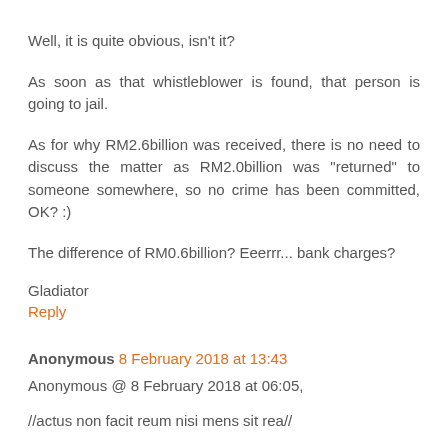Well, it is quite obvious, isn't it?
As soon as that whistleblower is found, that person is going to jail.
As for why RM2.6billion was received, there is no need to discuss the matter as RM2.0billion was "returned" to someone somewhere, so no crime has been committed, OK? :)
The difference of RM0.6billion? Eeerrr... bank charges?
Gladiator
Reply
Anonymous 8 February 2018 at 13:43
Anonymous @ 8 February 2018 at 06:05,
//actus non facit reum nisi mens sit rea//